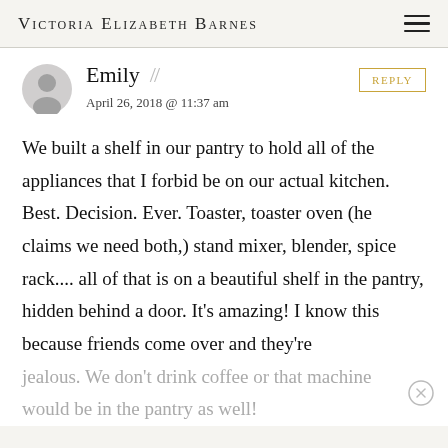Victoria Elizabeth Barnes
Emily
April 26, 2018 @ 11:37 am
REPLY
We built a shelf in our pantry to hold all of the appliances that I forbid be on our actual kitchen. Best. Decision. Ever. Toaster, toaster oven (he claims we need both,) stand mixer, blender, spice rack.... all of that is on a beautiful shelf in the pantry, hidden behind a door. It’s amazing! I know this because friends come over and they’re jealous. We don’t drink coffee or that machine would be in the pantry as well!